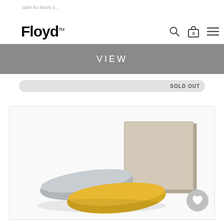table for family a... | Floyd™
VIEW
SOLD OUT
[Figure (photo): Product photo showing two teardrop-shaped plates (one gray, one yellow) and a square beige/tan book or box, arranged on a white background.]